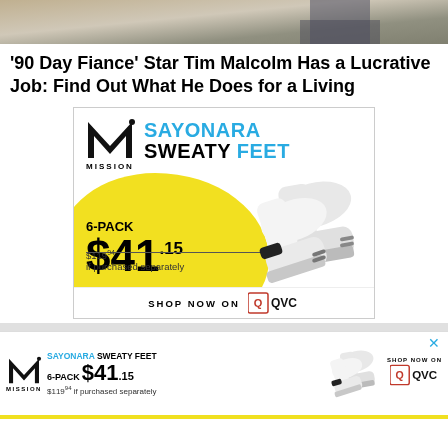[Figure (photo): Top portion of an image, partially cut off, showing a tiled floor or similar background]
‘90 Day Fiance’ Star Tim Malcolm Has a Lucrative Job: Find Out What He Does for a Living
[Figure (infographic): Mission brand advertisement showing: SAYONARA SWEATY FEET tagline, 6-PACK $41.15 pricing, $119.94 if purchased separately, white athletic socks image, SHOP NOW ON QVC branding, yellow circular background blob]
[Figure (infographic): Smaller Mission brand sticky advertisement at bottom: SAYONARA SWEATY FEET, 6-PACK $41.15, $119.94 if purchased separately, socks image, SHOP NOW ON QVC logo, with X close button]